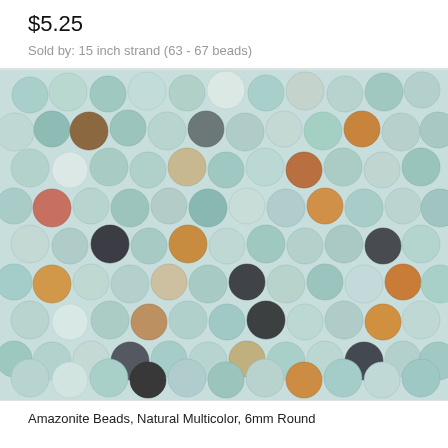$5.25
Sold by: 15 inch strand (63 - 67 beads)
[Figure (photo): Close-up photograph of multiple strands of multicolor amazonite round beads (6mm), showing a mix of light teal/blue-green, white, orange, brown, and black patterned gemstone beads packed closely together.]
Amazonite Beads, Natural Multicolor, 6mm Round